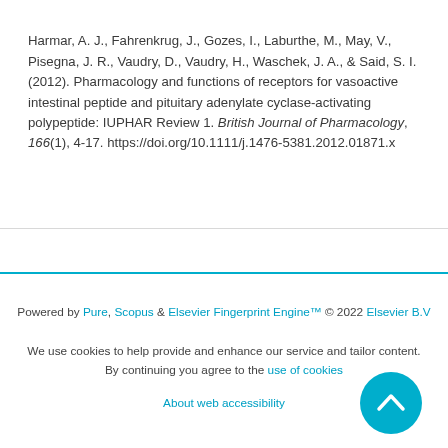Harmar, A. J., Fahrenkrug, J., Gozes, I., Laburthe, M., May, V., Pisegna, J. R., Vaudry, D., Vaudry, H., Waschek, J. A., & Said, S. I. (2012). Pharmacology and functions of receptors for vasoactive intestinal peptide and pituitary adenylate cyclase-activating polypeptide: IUPHAR Review 1. British Journal of Pharmacology, 166(1), 4-17. https://doi.org/10.1111/j.1476-5381.2012.01871.x
Powered by Pure, Scopus & Elsevier Fingerprint Engine™ © 2022 Elsevier B.V
We use cookies to help provide and enhance our service and tailor content. By continuing you agree to the use of cookies
About web accessibility